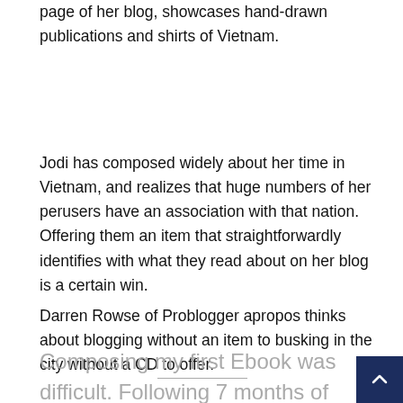page of her blog, showcases hand-drawn publications and shirts of Vietnam.
Jodi has composed widely about her time in Vietnam, and realizes that huge numbers of her perusers have an association with that nation. Offering them an item that straightforwardly identifies with what they read about on her blog is a certain win.
Darren Rowse of Problogger apropos thinks about blogging without an item to busking in the city without a CD to offer.
Composing my first Ebook was difficult. Following 7 months of diligent